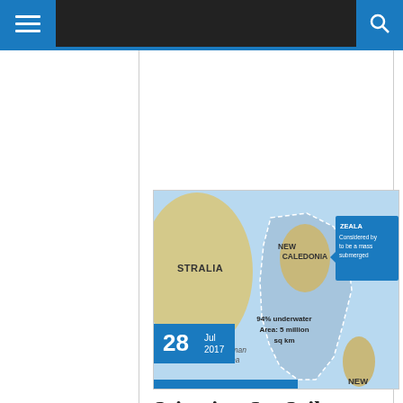Navigation bar with hamburger menu and search icon
[Figure (map): Map showing Zealandia submerged continent near Australia and New Zealand. Labels include: STRALIA (Australia), NEW CALEDONIA, Tasman Sea, NEW (New Zealand), ZEALA (Zealandia). Info box reads: Considered by to be a mass submerged. Stats: 94% underwater, Area: 5 million sq km. Date badge: 28 Jul 2017.]
Scientists Set Sail to Unlock Secrets of 'Lost Continent' Zealandia